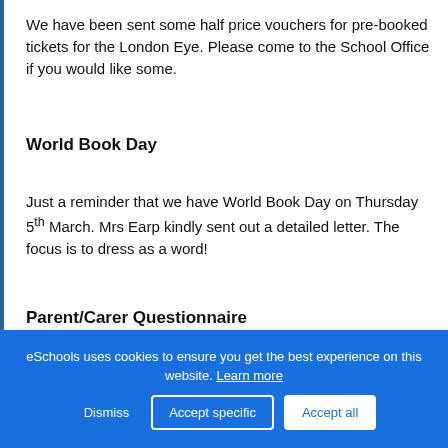We have been sent some half price vouchers for pre-booked tickets for the London Eye. Please come to the School Office if you would like some.
World Book Day
Just a reminder that we have World Book Day on Thursday 5th March. Mrs Earp kindly sent out a detailed letter. The focus is to dress as a word!
Parent/Carer Questionnaire
eSchools uses cookies to ensure you get the best experience on this website. Learn more
Dismiss   Accept specific   Accept all